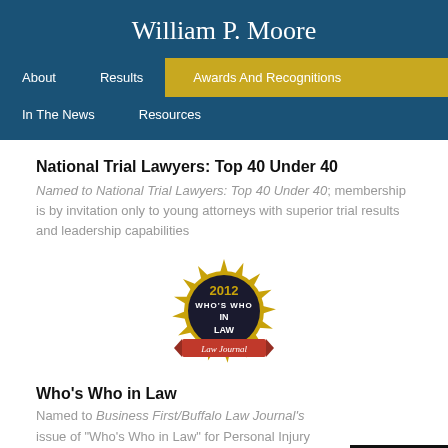William P. Moore
About | Results | Awards And Recognitions | In The News | Resources
National Trial Lawyers: Top 40 Under 40
Named to National Trial Lawyers: Top 40 Under 40; membership is by invitation only to young attorneys with superior trial results and leadership capabilities
[Figure (logo): 2012 Who's Who in Law - Buffalo Law Journal gold seal badge]
Who's Who in Law
Named to Business First/Buffalo Law Journal's issue of "Who's Who in Law" for Personal Injury Law